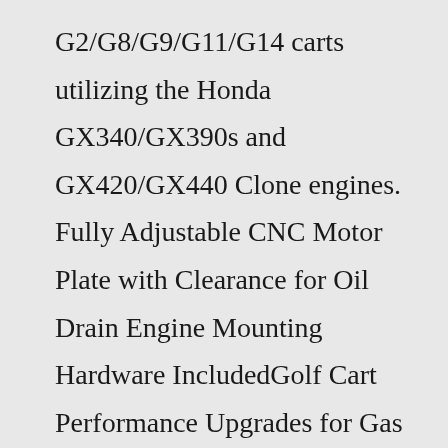G2/G8/G9/G11/G14 carts utilizing the Honda GX340/GX390s and GX420/GX440 Clone engines. Fully Adjustable CNC Motor Plate with Clearance for Oil Drain Engine Mounting Hardware IncludedGolf Cart Performance Upgrades for Gas or Electric Engines Here at Golf Cart King, if there's one thing we know how to do, it's make your golf cart faster and more efficient. To support this, we carry an all-